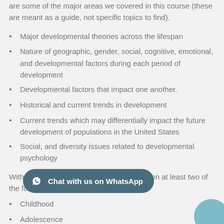are some of the major areas we covered in this course (these are meant as a guide, not specific topics to find).
Major developmental theories across the lifespan
Nature of geographic, gender, social, cognitive, emotional, and developmental factors during each period of development
Developmental factors that impact one another.
Historical and current trends in development
Current trends which may differentially impact the future development of populations in the United States
Social, and diversity issues related to developmental psychology
With the major areas above in mind, focus on at least two of the following age groups:
Childhood
Adolescence